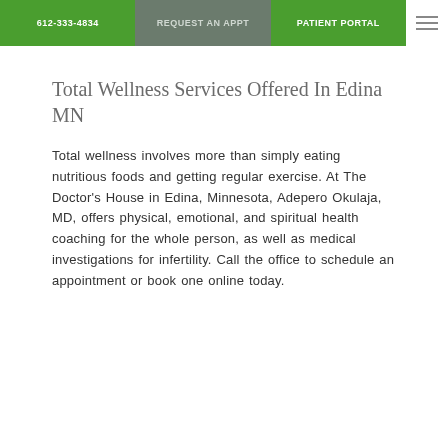612-333-4834 | REQUEST AN APPT | PATIENT PORTAL
Total Wellness Services Offered In Edina MN
Total wellness involves more than simply eating nutritious foods and getting regular exercise. At The Doctor's House in Edina, Minnesota, Adepero Okulaja, MD, offers physical, emotional, and spiritual health coaching for the whole person, as well as medical investigations for infertility. Call the office to schedule an appointment or book one online today.